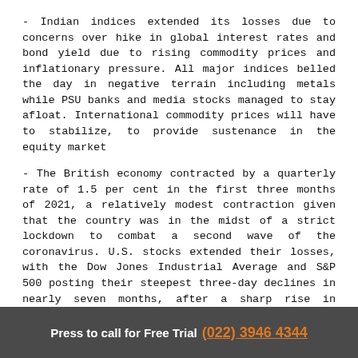- Indian indices extended its losses due to concerns over hike in global interest rates and bond yield due to rising commodity prices and inflationary pressure. All major indices belled the day in negative terrain including metals while PSU banks and media stocks managed to stay afloat. International commodity prices will have to stabilize, to provide sustenance in the equity market
- The British economy contracted by a quarterly rate of 1.5 per cent in the first three months of 2021, a relatively modest contraction given that the country was in the midst of a strict lockdown to combat a second wave of the coronavirus. U.S. stocks extended their losses, with the Dow Jones Industrial Average and S&P 500 posting their steepest three-day declines in nearly seven months, after a sharp rise in consumer prices heightened concerns about inflation.
Movers & Shakers
Shares of Bharat Heavy Electricals Limited (BHEL) surged 14
Press to call for Free Trial (022) 3946 4344